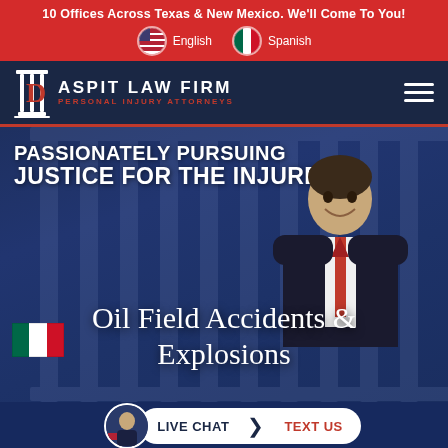10 Offices Across Texas & New Mexico. We'll Come To You!
[Figure (logo): Daspit Law Firm logo with column icon, name in white, subtitle PERSONAL INJURY ATTORNEYS in red]
[Figure (photo): Hero banner with attorney photo, text PASSIONATELY PURSUING JUSTICE FOR THE INJURED, and subheading Oil Field Accidents & Explosions on dark blue background with column imagery]
Oil Field Accidents & Explosions
[Figure (screenshot): Bottom bar with live chat button showing LIVE CHAT | TEXT US and avatar photo]